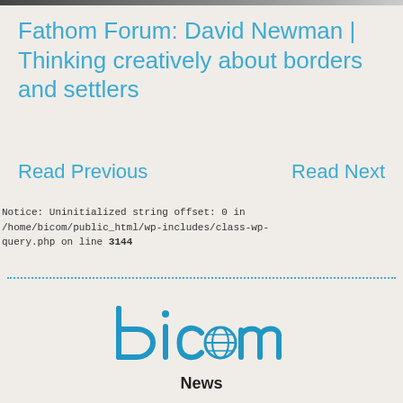[Figure (photo): Partial image bar at top of page showing people]
Fathom Forum: David Newman | Thinking creatively about borders and settlers
Read Previous    Read Next
Notice: Uninitialized string offset: 0 in /home/bicom/public_html/wp-includes/class-wp-query.php on line 3144
[Figure (logo): bicom logo with globe icon replacing the letter o]
News